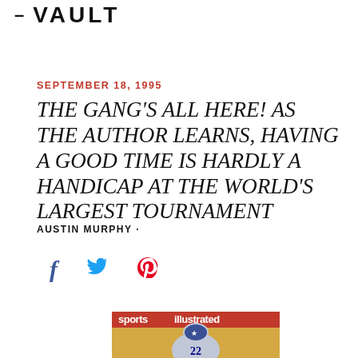— VAULT
SEPTEMBER 18, 1995
THE GANG'S ALL HERE! AS THE AUTHOR LEARNS, HAVING A GOOD TIME IS HARDLY A HANDICAP AT THE WORLD'S LARGEST TOURNAMENT
AUSTIN MURPHY ·
[Figure (infographic): Social sharing icons: Facebook (f), Twitter (bird), Pinterest (p)]
[Figure (photo): Sports Illustrated magazine cover showing a Dallas Cowboys player wearing #22 jersey, with the magazine title 'Sports Illustrated' partially visible]